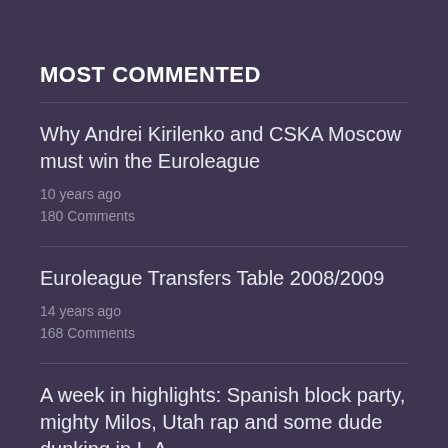MOST COMMENTED
Why Andrei Kirilenko and CSKA Moscow must win the Euroleague
10 years ago
180 Comments
Euroleague Transfers Table 2008/2009
14 years ago
168 Comments
A week in highlights: Spanish block party, mighty Milos, Utah rap and some dude dunking in L.A.
11 years ago